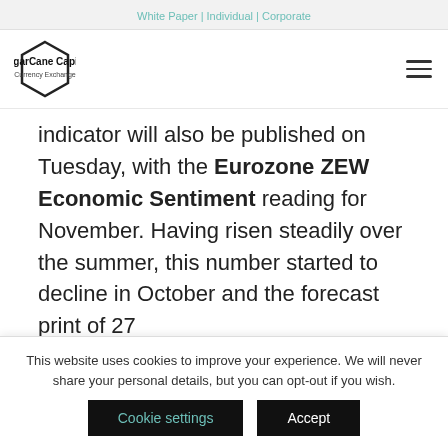White Paper | Individual | Corporate
[Figure (logo): SugarCane Capital Currency Exchange hexagon logo with hamburger menu icon]
indicator will also be published on Tuesday, with the Eurozone ZEW Economic Sentiment reading for November. Having risen steadily over the summer, this number started to decline in October and the forecast print of 27
This website uses cookies to improve your experience. We will never share your personal details, but you can opt-out if you wish.